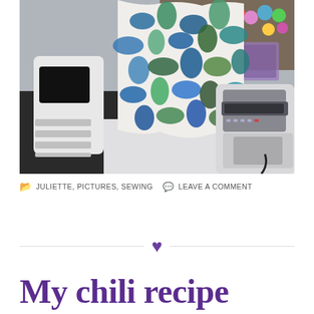[Figure (photo): A sewing room scene showing a colorful fabric with animal and plant print (blue, green, teal) hanging on a rack, a white sewing machine on the right, a white device on the left (possibly a tablet stand or cutting machine), and spools of thread visible in the background on a pegboard.]
JULIETTE, PICTURES, SEWING   LEAVE A COMMENT
My chili recipe